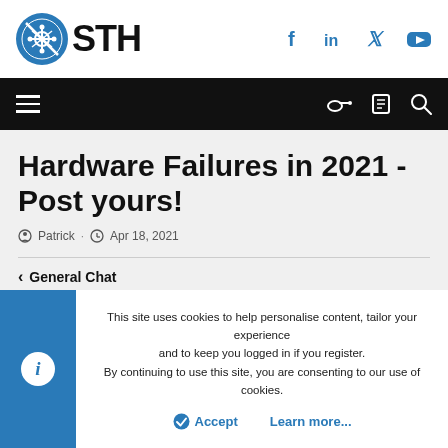[Figure (logo): STH (ServeTheHome) logo with circuit board circle icon and STH text]
[Figure (infographic): Social media icons: Facebook, LinkedIn, Twitter, YouTube in blue]
[Figure (infographic): Navigation bar with hamburger menu, key icon, list icon, and search icon on black background]
Hardware Failures in 2021 - Post yours!
Patrick · Apr 18, 2021
< General Chat
This site uses cookies to help personalise content, tailor your experience and to keep you logged in if you register.
By continuing to use this site, you are consenting to our use of cookies.
✓ Accept    Learn more...